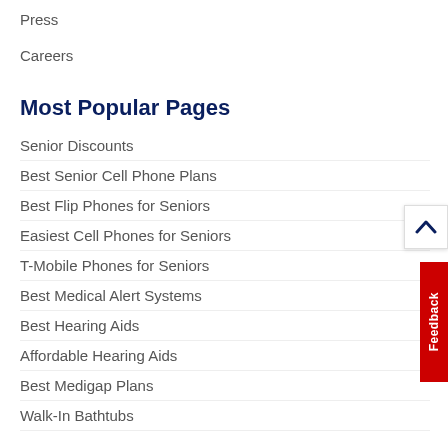Press
Careers
Most Popular Pages
Senior Discounts
Best Senior Cell Phone Plans
Best Flip Phones for Seniors
Easiest Cell Phones for Seniors
T-Mobile Phones for Seniors
Best Medical Alert Systems
Best Hearing Aids
Affordable Hearing Aids
Best Medigap Plans
Walk-In Bathtubs